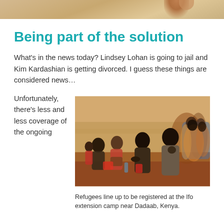[Figure (photo): Top of page image showing what appears to be a partial view of a hand or skin, tan/warm-toned background]
Being part of the solution
What's in the news today? Lindsey Lohan is going to jail and Kim Kardashian is getting divorced. I guess these things are considered news…
Unfortunately, there's less and less coverage of the ongoing
[Figure (photo): Refugees line up to be registered at the Ifo extension camp near Dadaab, Kenya. People are sitting and crouching on dry red/orange dirt ground.]
Refugees line up to be registered at the Ifo extension camp near Dadaab, Kenya.